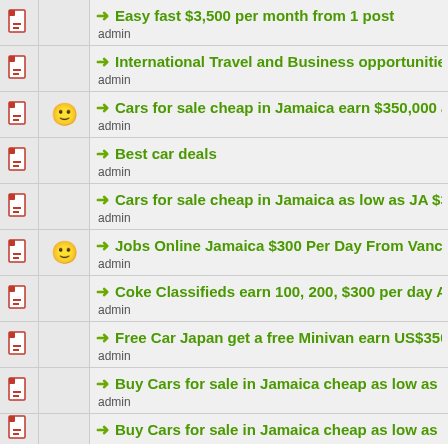Easy fast $3,500 per month from 1 post
admin
International Travel and Business opportunities $3500 pe...
admin
Cars for sale cheap in Jamaica earn $350,000 a month
admin
Best car deals
admin
Cars for sale cheap in Jamaica as low as JA $300,000.00
admin
Jobs Online Jamaica $300 Per Day From Vancouver Cana...
admin
Coke Classifieds earn 100, 200, $300 per day Autopilot
admin
Free Car Japan get a free Minivan earn US$3500 per mont...
admin
Buy Cars for sale in Jamaica cheap as low as under $300,...
admin
Buy Cars for sale in Jamaica cheap as low as under $300...